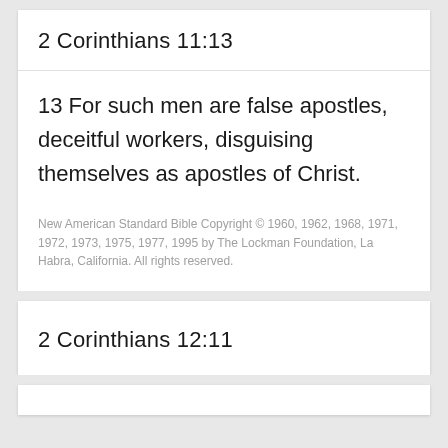2 Corinthians 11:13
13 For such men are false apostles, deceitful workers, disguising themselves as apostles of Christ.
New American Standard Bible Copyright © 1960, 1962, 1968, 1971, 1972, 1973, 1975, 1977, 1995 by The Lockman Foundation, La Habra, California.  All rights reserved.
2 Corinthians 12:11